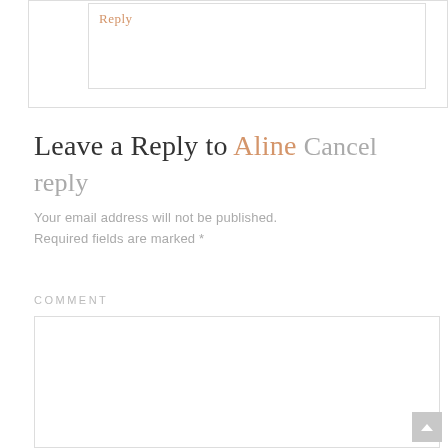Reply
Leave a Reply to Aline Cancel reply
Your email address will not be published. Required fields are marked *
COMMENT